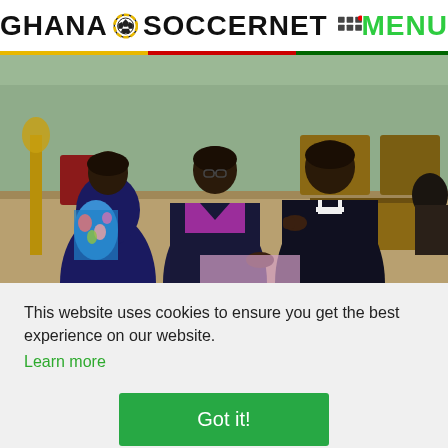GHANA SOCCERNET MENU
[Figure (photo): Three men in a church/hall setting. One man wearing colorful patterned shirt on the left, a man in purple sweater and dark suit in the middle, and a man in clerical collar on the right. They appear to be holding hands or interacting in a formal setting with wooden benches/pews in the background.]
This website uses cookies to ensure you get the best experience on our website. Learn more
Got it!